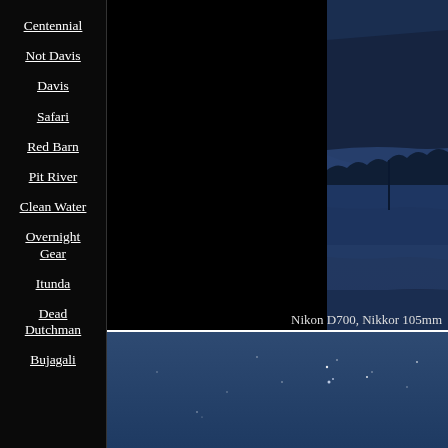Centennial
Not Davis
Davis
Safari
Red Barn
Pit River
Clean Water
Overnight Gear
Itunda
Dead Dutchman
Bujagali
[Figure (photo): Twilight landscape photo showing hills with low fog/clouds in blue tones, top panel]
Nikon D700, Nikkor 105mm
[Figure (photo): Night sky photo with faint stars visible against dark blue sky, bottom panel]